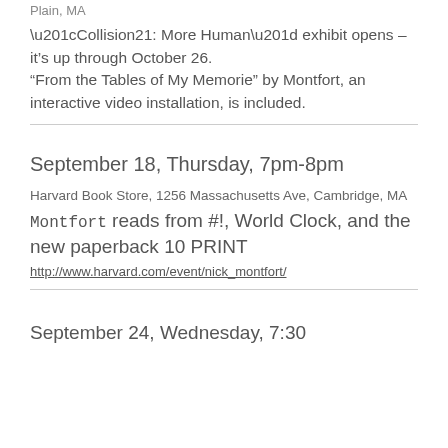Plain, MA
“Collision21: More Human” exhibit opens – it’s up through October 26. “From the Tables of My Memorie” by Montfort, an interactive video installation, is included.
September 18, Thursday, 7pm-8pm
Harvard Book Store, 1256 Massachusetts Ave, Cambridge, MA
Montfort reads from #!, World Clock, and the new paperback 10 PRINT
http://www.harvard.com/event/nick_montfort/
September 24, Wednesday, 7:30